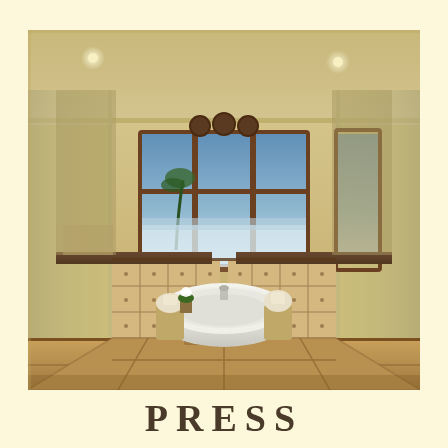[Figure (photo): Luxurious master bathroom interior with a freestanding white oval bathtub in the center, flanked by two stone pedestals with folded towels, a plant with white flowers, a small wooden step stool with a sponge, tiled walls with decorative tile pattern in beige and brown, glass shower enclosures on both sides, and large bay windows with wooden frames showing a tropical coastal view with palm trees and ocean in the background. Recessed lighting in the ceiling.]
PRESS